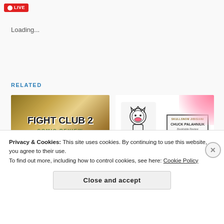[Figure (logo): Red badge logo with circle icon]
Loading...
RELATED
[Figure (illustration): Fight Club 2 comic book cover with grunge lettering and COMIC REVIEW text]
[Figure (illustration): Invisible Monsters book cover with cartoon character and pink splash, showing author Chuck Palahniuk]
Fight Club 2 by Chuck
Invisible Monsters by
Privacy & Cookies: This site uses cookies. By continuing to use this website, you agree to their use.
To find out more, including how to control cookies, see here: Cookie Policy
Close and accept